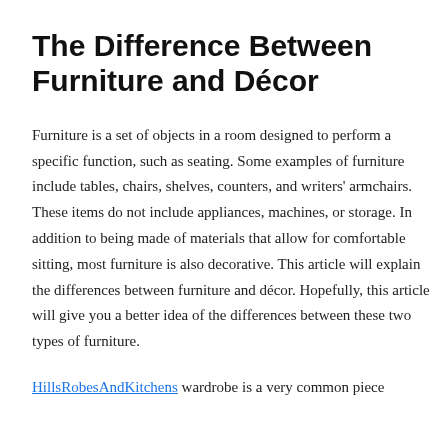The Difference Between Furniture and Décor
Furniture is a set of objects in a room designed to perform a specific function, such as seating. Some examples of furniture include tables, chairs, shelves, counters, and writers' armchairs. These items do not include appliances, machines, or storage. In addition to being made of materials that allow for comfortable sitting, most furniture is also decorative. This article will explain the differences between furniture and décor. Hopefully, this article will give you a better idea of the differences between these two types of furniture.
HillsRobesAndKitchens wardrobe is a very common piece